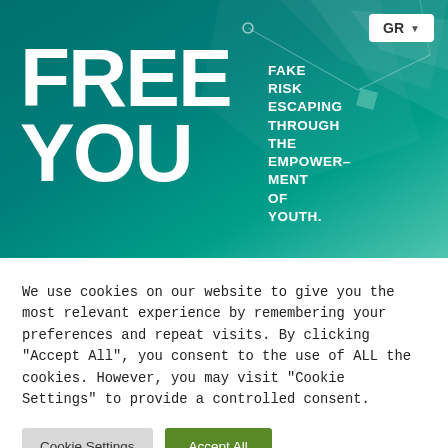[Figure (screenshot): Hero banner with teal/green gradient background, geometric polygon lines, FREE YOU logo text, and tagline FAKE RISK ESCAPING THROUGH THE EMPOWERMENT OF YOUTH. GR language selector button in top right.]
FREE YOU
FAKE RISK ESCAPING THROUGH THE EMPOWERMENT OF YOUTH.
We use cookies on our website to give you the most relevant experience by remembering your preferences and repeat visits. By clicking “Accept All”, you consent to the use of ALL the cookies. However, you may visit “Cookie Settings” to provide a controlled consent.
Cookie Settings
Accept All